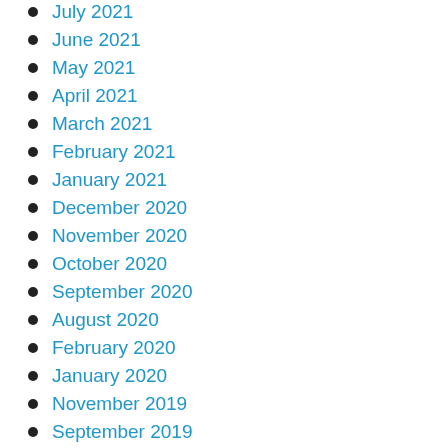July 2021
June 2021
May 2021
April 2021
March 2021
February 2021
January 2021
December 2020
November 2020
October 2020
September 2020
August 2020
February 2020
January 2020
November 2019
September 2019
July 2019